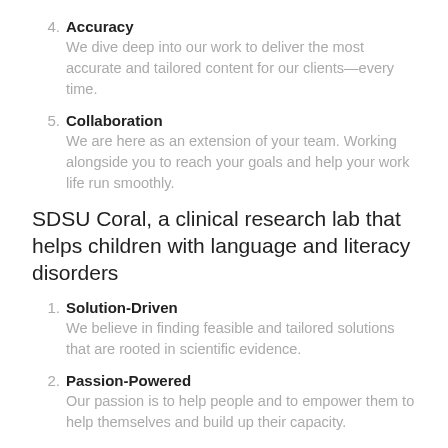4. Accuracy
We dive deep into our work to deliver the most accurate and tailored content for our clients—every time.
5. Collaboration
We are here as an extension of your team. Working alongside you to reach your goals and help your work life run smoothly.
SDSU Coral, a clinical research lab that helps children with language and literacy disorders
1. Solution-Driven
We believe in finding feasible and tailored solutions that are rooted in scientific evidence.
2. Passion-Powered
Our passion is to help people and to empower them to help themselves and build up their capacity.